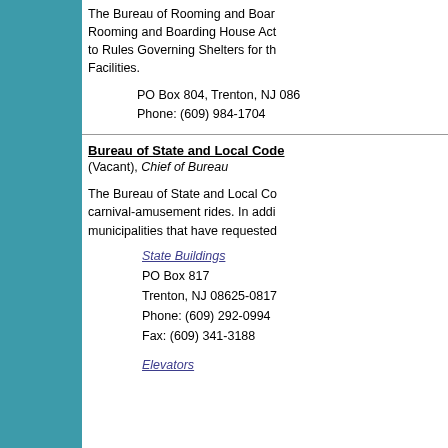The Bureau of Rooming and Boar... Rooming and Boarding House Act... to Rules Governing Shelters for th... Facilities.
PO Box 804, Trenton, NJ 086...
Phone: (609) 984-1704
Bureau of State and Local Code
(Vacant), Chief of Bureau
The Bureau of State and Local Co... carnival-amusement rides. In addi... municipalities that have requested...
State Buildings
PO Box 817
Trenton, NJ 08625-0817
Phone: (609) 292-0994
Fax: (609) 341-3188
Elevators